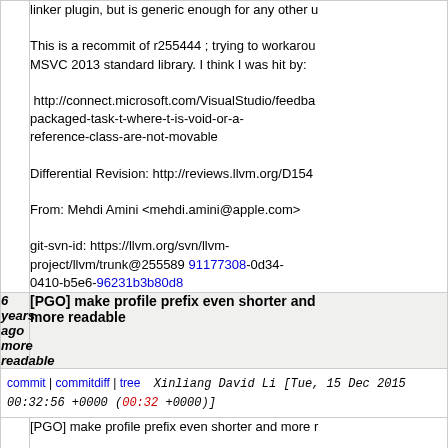linker plugin, but is generic enough for any other u
This is a recommit of r255444 ; trying to workaround MSVC 2013 standard library. I think I was hit by:
 http://connect.microsoft.com/VisualStudio/feedba packaged-task-t-where-t-is-void-or-a-reference-class-are-not-movable
Differential Revision: http://reviews.llvm.org/D1546
From: Mehdi Amini <mehdi.amini@apple.com>
git-svn-id: https://llvm.org/svn/llvm-project/llvm/trunk@255589 91177308-0d34-0410-b5e6-96231b3b80d8
[PGO] make profile prefix even shorter and more readable
commit | commitdiff | tree   Xinliang David Li [Tue, 15 Dec 2015 00:32:56 +0000 (00:32 +0000)]
[PGO] make profile prefix even shorter and more r
git-svn-id: https://llvm.org/svn/llvm-project/llvm/trunk@255586 91177308-0d34-0410-b5e6-96231b3b80d8